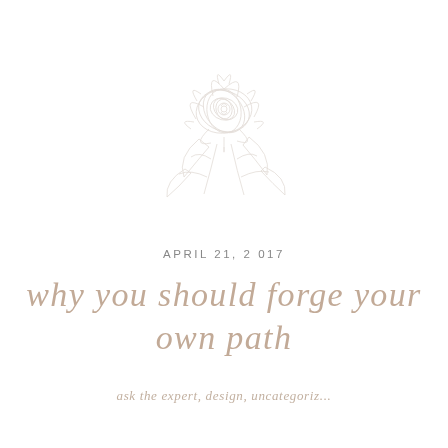[Figure (illustration): Faint outline illustration of a peony or rose flower with leaves and branches, very light gray/beige color on white background]
APRIL 21, 2017
why you should forge your own path
ask the expert, design, uncategoriz...